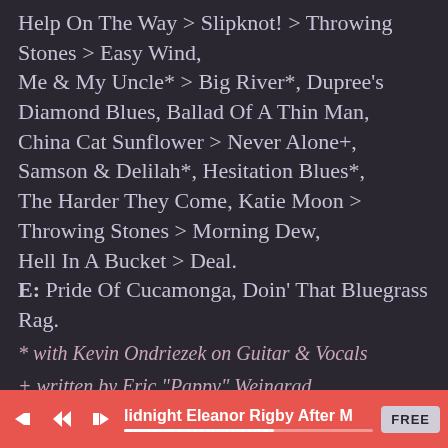Help On The Way > Slipknot! > Throwing Stones > Easy Wind, Me & My Uncle* > Big River*, Dupree's Diamond Blues, Ballad Of A Thin Man, China Cat Sunflower > Never Alone+, Samson & Delilah*, Hesitation Blues*, The Harder They Come, Katie Moon > Throwing Stones > Morning Dew, Hell In A Bucket > Deal. E: Pride Of Cucamonga, Doin' That Bluegrass Rag.
* with Kevin Ondriezek on Guitar & Vocals
+ written by Eric "Pappy" Weingrad
Saturday 7/16/11
Roma Restaurant
lidnight Eleanor Rigby After M  FREE